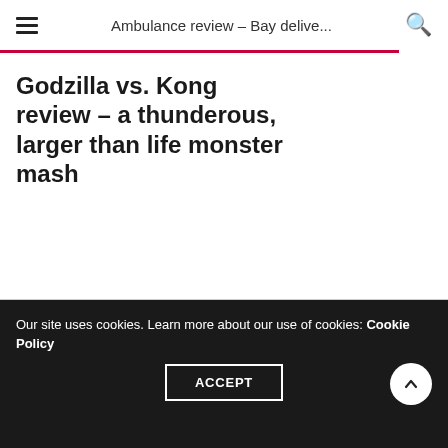Ambulance review – Bay delive...
Godzilla vs. Kong review – a thunderous, larger than life monster mash
Our site uses cookies. Learn more about our use of cookies: Cookie Policy